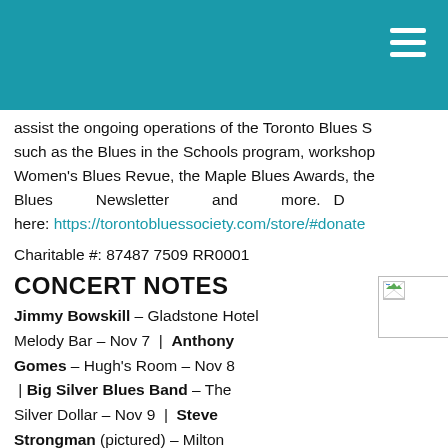assist the ongoing operations of the Toronto Blues S such as the Blues in the Schools program, workshop Women's Blues Revue, the Maple Blues Awards, the Blues Newsletter and more. D here: https://torontobluessociety.com/store/#donate
Charitable #: 87487 7509 RR0001
CONCERT NOTES
Jimmy Bowskill – Gladstone Hotel Melody Bar – Nov 7 | Anthony Gomes – Hugh's Room – Nov 8 | Big Silver Blues Band – The Silver Dollar – Nov 9 | Steve Strongman (pictured) – Milton Center for the Arts – Nov 9 | Brian
[Figure (photo): Small image placeholder with broken image icon in top left corner]